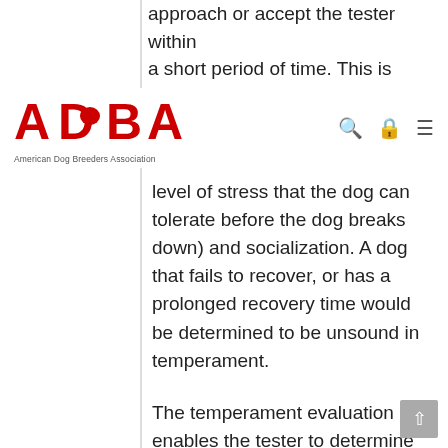approach or accept the tester within a short period of time. This is known
[Figure (logo): ADBA - American Dog Breeders Association logo in red with dog silhouette]
level of stress that the dog can tolerate before the dog breaks down) and socialization. A dog that fails to recover, or has a prolonged recovery time would be determined to be unsound in temperament.
The temperament evaluation enables the tester to determine the dog's ability to evaluate energy in his environment and respond appropriately. As one breeder